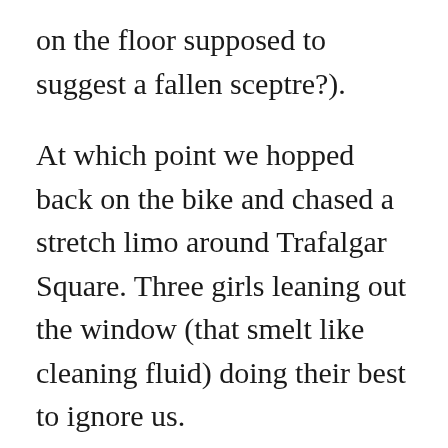on the floor supposed to suggest a fallen sceptre?).
At which point we hopped back on the bike and chased a stretch limo around Trafalgar Square. Three girls leaning out the window (that smelt like cleaning fluid) doing their best to ignore us.
We looked at Buckingham Palace, the Serpentine, Baker Street, St John's Wood high Street and stopped at the crepe stand in Hampstead. Picked up a flavour of Nightin-